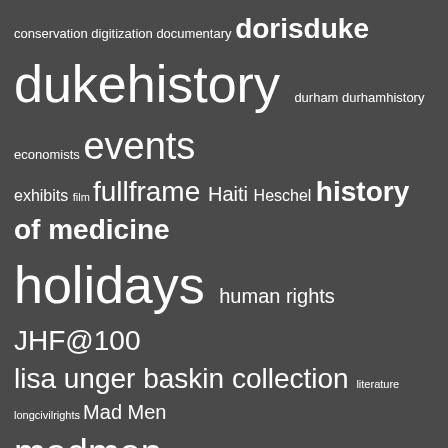[Figure (infographic): Tag cloud with words of varying sizes on dark gray background including: conservation, digitization, documentary, dorisduke, dukehistory, durham, durhamhistory, economists, events, exhibits, film, fullframe, Haiti, Heschel, history of medicine, holidays, human rights, JHF@100, lisa unger baskin collection, literature, longcivilrights, Mad Men, madmen, madmenmondays, medicine, movediary, photography, recipes, renovation, rubensteinstaff, scrapbooks, students, valentinesday, women's history, World War II]
THE DEVIL'S TALE ARCHIVE
Select Month
NEW ARCHIVAL COLLECTIONS AT THE RUBENSTEIN LIBRARY